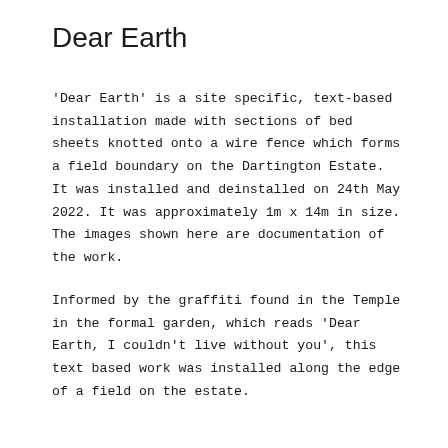Dear Earth
‘Dear Earth’ is a site specific, text-based installation made with sections of bed sheets knotted onto a wire fence which forms a field boundary on the Dartington Estate. It was installed and deinstalled on 24th May 2022. It was approximately 1m x 14m in size. The images shown here are documentation of the work.
Informed by the graffiti found in the Temple in the formal garden, which reads ‘Dear Earth, I couldn’t live without you’, this text based work was installed along the edge of a field on the estate.